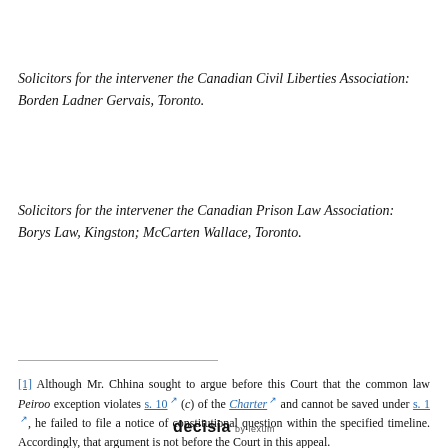Solicitors for the intervener the Canadian Civil Liberties Association: Borden Ladner Gervais, Toronto.
Solicitors for the intervener the Canadian Prison Law Association: Borys Law, Kingston; McCarten Wallace, Toronto.
[1] Although Mr. Chhina sought to argue before this Court that the common law Peiroo exception violates s. 10 (c) of the Charter and cannot be saved under s. 1 , he failed to file a notice of constitutional question within the specified timeline. Accordingly, that argument is not before the Court in this appeal.
decisia by lexum